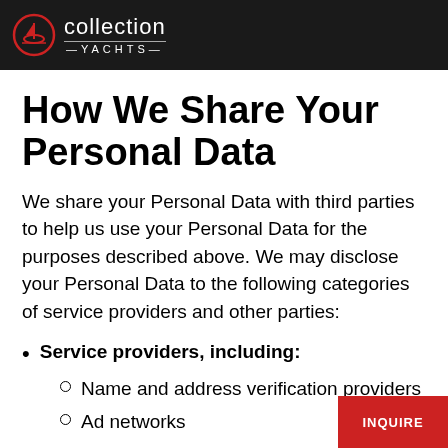Collection Yachts
How We Share Your Personal Data
We share your Personal Data with third parties to help us use your Personal Data for the purposes described above. We may disclose your Personal Data to the following categories of service providers and other parties:
Service providers, including:
Name and address verification providers
Ad networks